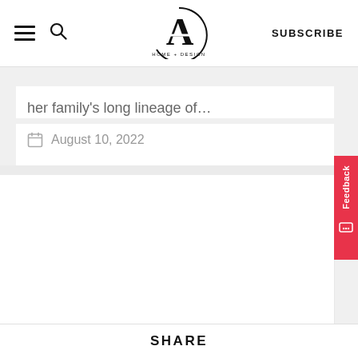CA HOME + DESIGN — SUBSCRIBE
her family’s long lineage of…
August 10, 2022
[Figure (screenshot): Empty white content card area]
SHARE